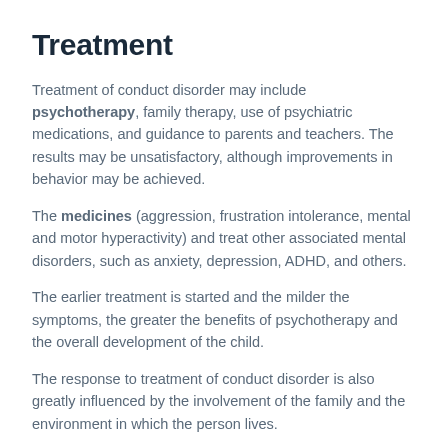Treatment
Treatment of conduct disorder may include psychotherapy, family therapy, use of psychiatric medications, and guidance to parents and teachers. The results may be unsatisfactory, although improvements in behavior may be achieved.
The medicines (aggression, frustration intolerance, mental and motor hyperactivity) and treat other associated mental disorders, such as anxiety, depression, ADHD, and others.
The earlier treatment is started and the milder the symptoms, the greater the benefits of psychotherapy and the overall development of the child.
The response to treatment of conduct disorder is also greatly influenced by the involvement of the family and the environment in which the person lives.